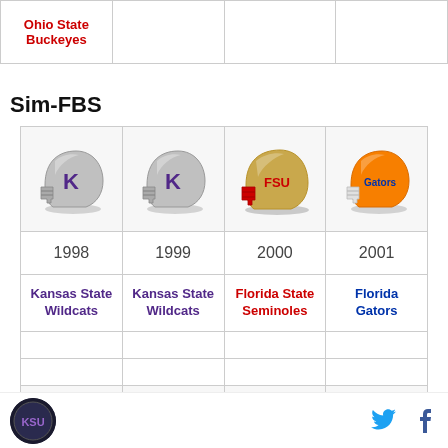|  |  |  |  |
| --- | --- | --- | --- |
| Ohio State Buckeyes |  |  |  |
Sim-FBS
| 1998 | 1999 | 2000 | 2001 |
| --- | --- | --- | --- |
| [helmet: Kansas State] | [helmet: Kansas State] | [helmet: Florida State] | [helmet: Florida Gators] |
| 1998 | 1999 | 2000 | 2001 |
| Kansas State Wildcats | Kansas State Wildcats | Florida State Seminoles | Florida Gators |
|  |  |  |  |
|  |  |  |  |
| [helmet: Oklahoma partial] |  |  |  |
Site logo | Twitter | Facebook